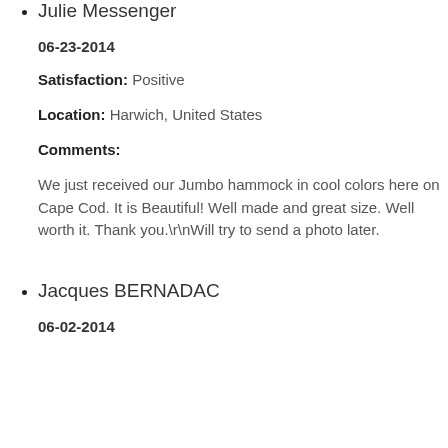Julie Messenger
06-23-2014
Satisfaction: Positive
Location: Harwich, United States
Comments:
We just received our Jumbo hammock in cool colors here on Cape Cod. It is Beautiful! Well made and great size. Well worth it. Thank you.\r\nWill try to send a photo later.
Jacques BERNADAC
06-02-2014